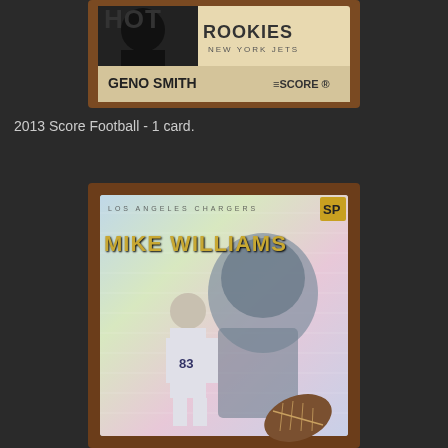[Figure (photo): A framed 2013 Score Football trading card featuring Geno Smith as a Hot Rookie for the New York Jets, displayed on a wood-grain plaque background.]
2013 Score Football - 1 card.
[Figure (photo): A holographic/refractor style football trading card featuring Mike Williams of the Los Angeles Chargers (#83), displayed on a wood-grain plaque background. The card shows Williams in his uniform running, with a vintage black-and-white player image overlaid.]